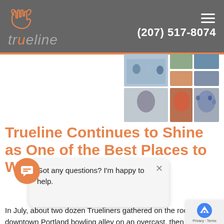trueline | (207) 517-8074
[Figure (photo): Collage of workplace photos showing people in various work settings]
Trueline Continues to Shine as One of the Best Places to Work i…
[Figure (screenshot): Chat popup widget with text: Got any questions? I'm happy to help. With close X button. Orange chat icon badge.]
In July, about two dozen Trueliners gathered on the roof of a downtown Portland bowling alley on an overcast, then rainy, Tuesday night. It was the f…